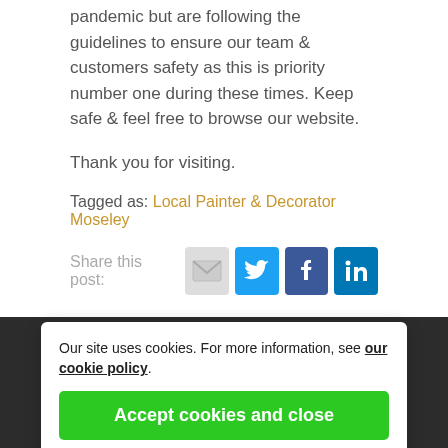pandemic but are following the guidelines to ensure our team & customers safety as this is priority number one during these times. Keep safe & feel free to browse our website.
Thank you for visiting.
Tagged as: Local Painter & Decorator Moseley
Share this post:
[Figure (infographic): Social share icons: email, Twitter, Facebook, LinkedIn]
Archives
Tags
(blurred archive items and tags)
Our site uses cookies. For more information, see our cookie policy.
Accept cookies and close
Reject cookies
Manage settings